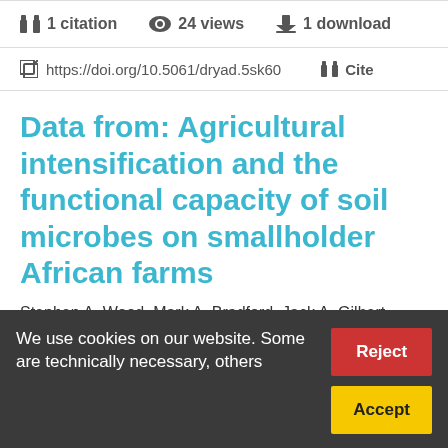1 citation   24 views   1 download
https://doi.org/10.5061/dryad.5sk60   Cite
Data from: Agricultural intensification and the functional capacity of soil microbes on smallholder African farms
Stephen A. Wood, Mark A. Bradford, Jack A. Gilbert, Krista L. McGuire, Cheryl A. Palm, Katherine L. Tully, Jizhong Zhou & Shahid Naeem
We use cookies on our website. Some are technically necessary, others